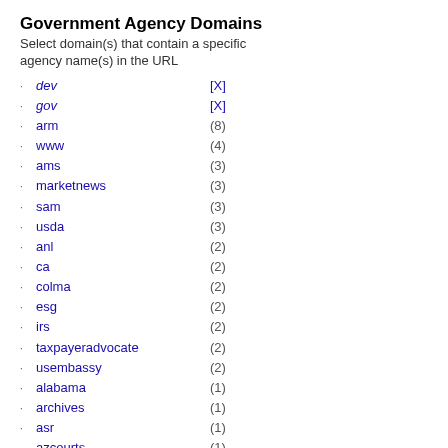Government Agency Domains
Select domain(s) that contain a specific agency name(s) in the URL
dev [X]
gov [X]
arm (8)
www (4)
ams (3)
marketnews (3)
sam (3)
usda (3)
anl (2)
ca (2)
colma (2)
esg (2)
irs (2)
taxpayeradvocate (2)
usembassy (2)
alabama (1)
archives (1)
asr (1)
azcourts (1)
bnl (1)
census (1)
db (1)
dc (1)
dot (1)